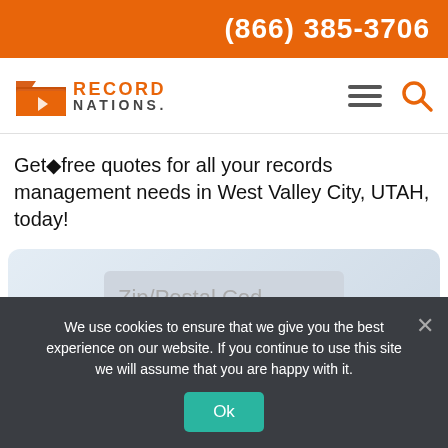(866) 385-3706
[Figure (logo): Record Nations logo with orange folder icon and orange RECORD NATIONS text]
Get◆free quotes for all your records management needs in West Valley City, UTAH, today!
[Figure (screenshot): Search widget with Zip/Postal Code input field and red Search button on a light blue-grey background]
We use cookies to ensure that we give you the best experience on our website. If you continue to use this site we will assume that you are happy with it.